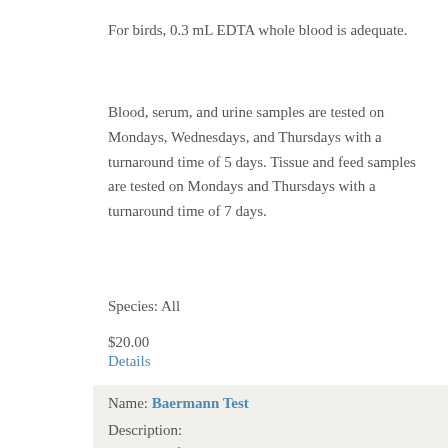For birds, 0.3 mL EDTA whole blood is adequate.
Blood, serum, and urine samples are tested on Mondays, Wednesdays, and Thursdays with a turnaround time of 5 days. Tissue and feed samples are tested on Mondays and Thursdays with a turnaround time of 7 days.
Species: All
$20.00
Details
Name: Baermann Test
Description:
Detection of lungworm larvae by the Baermann method.